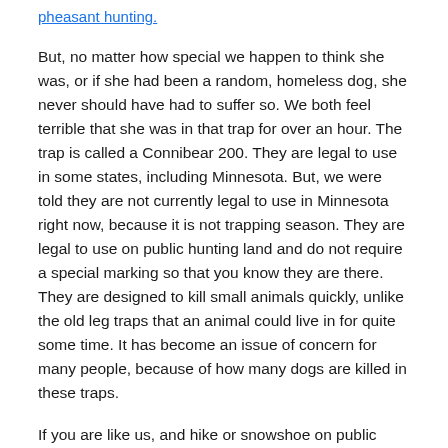pheasant hunting.
But, no matter how special we happen to think she was, or if she had been a random, homeless dog, she never should have had to suffer so.  We both feel terrible that she was in that trap for over an hour.   The trap is called a Connibear 200.  They are legal to use in some states, including Minnesota.  But, we were told they are not currently legal to use in Minnesota right now, because it is not trapping season.  They are legal to use on public hunting land and do not require a special marking so that you know they are there.  They are designed to kill small animals quickly, unlike the old leg traps that an animal could live in for quite some time.    It has become an issue of concern for many people, because of how many dogs are killed in these traps.
If you are like us, and hike or snowshoe on public hunting